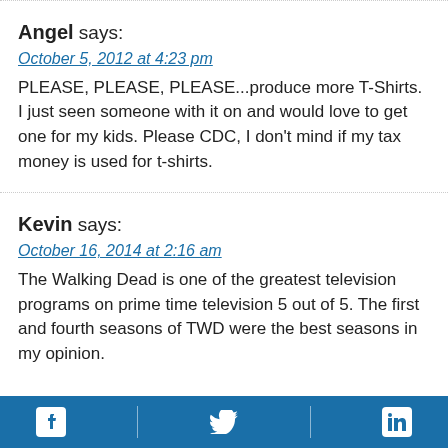Angel says:
October 5, 2012 at 4:23 pm
PLEASE, PLEASE, PLEASE...produce more T-Shirts. I just seen someone with it on and would love to get one for my kids. Please CDC, I don’t mind if my tax money is used for t-shirts.
Kevin says:
October 16, 2014 at 2:16 am
The Walking Dead is one of the greatest television programs on prime time television 5 out of 5. The first and fourth seasons of TWD were the best seasons in my opinion.
Social media icons: Facebook, Twitter, LinkedIn